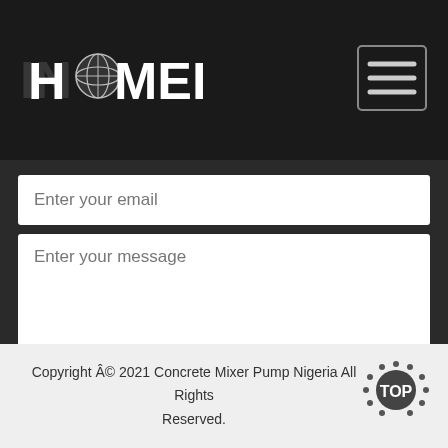[Figure (logo): HAOMEI logo with globe icon on dark background header]
[Figure (other): Hamburger menu button (three horizontal lines) in a rounded rectangle border]
Enter your email
Enter your message
Send
Copyright Â© 2021 Concrete Mixer Pump Nigeria All Rights Reserved.